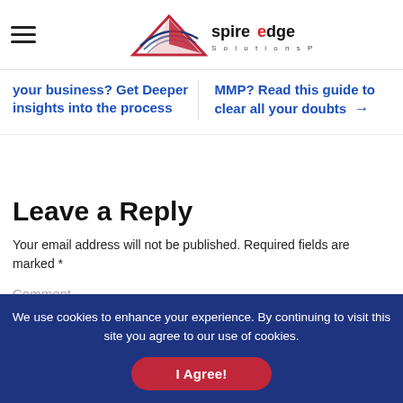[Figure (logo): SpireEdge Solutions Pvt Ltd logo with a triangular arrow SVG graphic and company name text]
your business? Get Deeper insights into the process
MMP? Read this guide to clear all your doubts →
Leave a Reply
Your email address will not be published. Required fields are marked *
Comment
We use cookies to enhance your experience. By continuing to visit this site you agree to our use of cookies.
I Agree!